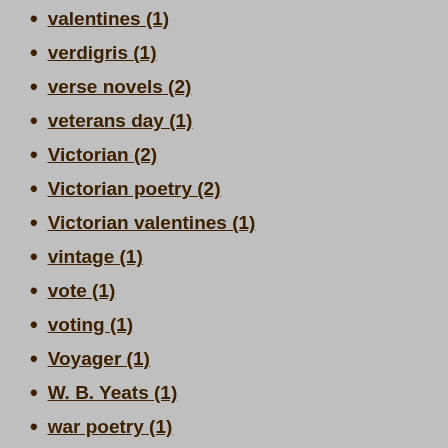valentines (1)
verdigris (1)
verse novels (2)
veterans day (1)
Victorian (2)
Victorian poetry (2)
Victorian valentines (1)
vintage (1)
vote (1)
voting (1)
Voyager (1)
W. B. Yeats (1)
war poetry (1)
We Haiku Here (5)
We See with These (1)
weather (1)